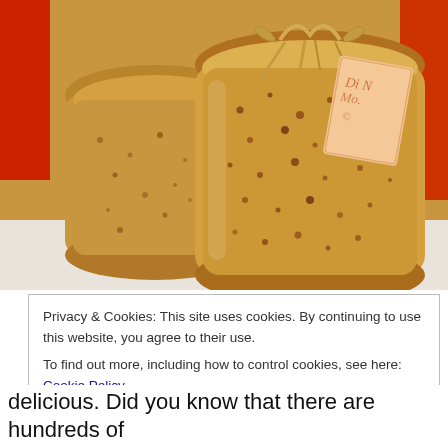[Figure (photo): Glass jars filled with grainy mustard or similar spread, tied with raffia bows and a paper tag, arranged on a white surface with a red background element visible.]
Privacy & Cookies: This site uses cookies. By continuing to use this website, you agree to their use.
To find out more, including how to control cookies, see here: Cookie Policy
Close and accept
delicious. Did you know that there are hundreds of